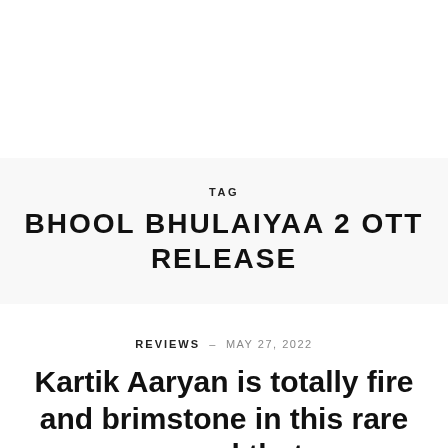TAG
BHOOL BHULAIYAA 2 OTT RELEASE
REVIEWS - MAY 27, 2022
Kartik Aaryan is totally fire and brimstone in this rare sequel that